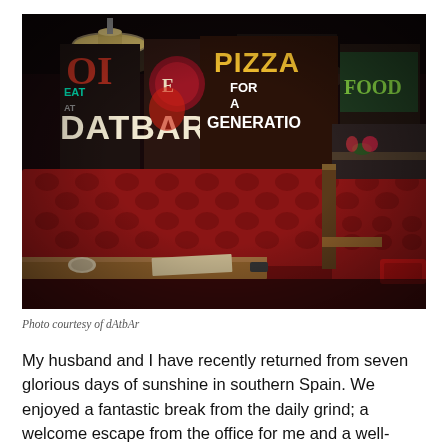[Figure (photo): Interior of dAtbAr restaurant showing red leather tufted booth seating, wooden tables, and a wall covered with vintage-style signage including 'DATBAR', 'PIZZA FOR A GENERATION', 'FOOD', industrial pendant lamps hanging from the ceiling, dark moody atmosphere.]
Photo courtesy of dAtbAr
My husband and I have recently returned from seven glorious days of sunshine in southern Spain. We enjoyed a fantastic break from the daily grind; a welcome escape from the office for me and a well-deserved rest from the kitchen for him. Now back in Gateshead with the temperatures barely scraping double figures and the prospect of another full week at work